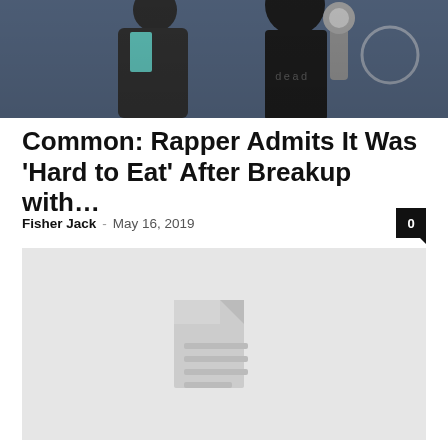[Figure (photo): Two people posing at what appears to be a music awards event, one holding a Grammy award, dark blue background]
Common: Rapper Admits It Was ‘Hard to Eat’ After Breakup with…
Fisher Jack – May 16, 2019
[Figure (photo): Placeholder image with document/file icon on grey background]